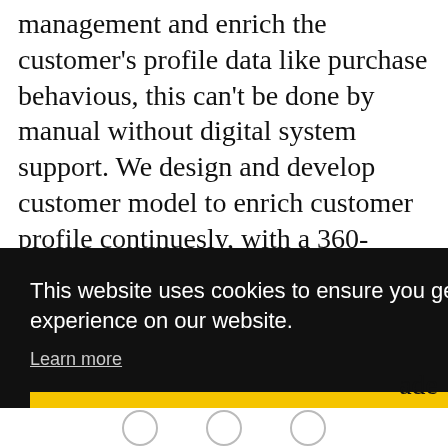management and enrich the customer's profile data like purchase behavious, this can't be done by manual without digital system support. We design and develop customer model to enrich customer profile continuesly, with a 360-degree customer profile view panel, to immediately showing the key customer characters when performing the sales activities. Moving further step, we are going to introduce AI engine to do live recommendation
This website uses cookies to ensure you get the best experience on our website. Learn more
Got it!